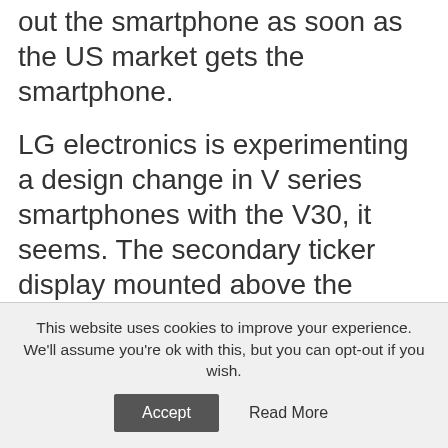out the smartphone as soon as the US market gets the smartphone.
LG electronics is experimenting a design change in V series smartphones with the V30, it seems. The secondary ticker display mounted above the primary display was significant design feature of the LG Vseries, yet the company is now removing it in favor of the OLED display. The OLED or Organic LED displays are way expensive in manufacturing. With the company's own OLED Research and Development crew, the
This website uses cookies to improve your experience. We'll assume you're ok with this, but you can opt-out if you wish.
Accept   Read More